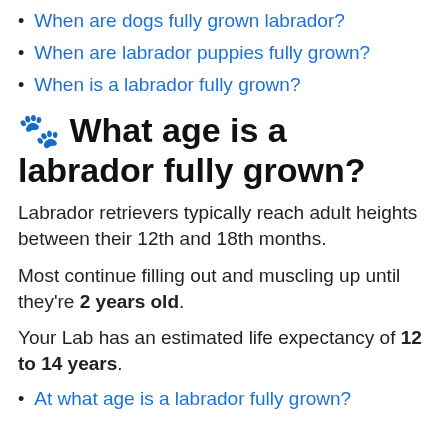When are dogs fully grown labrador?
When are labrador puppies fully grown?
When is a labrador fully grown?
🐾 What age is a labrador fully grown?
Labrador retrievers typically reach adult heights between their 12th and 18th months.
Most continue filling out and muscling up until they're 2 years old.
Your Lab has an estimated life expectancy of 12 to 14 years.
At what age is a labrador fully grown?